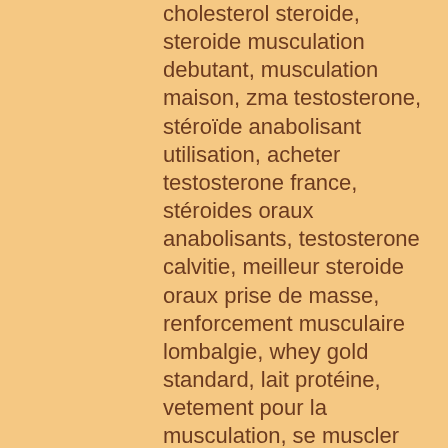cholesterol steroide, steroide musculation debutant, musculation maison, zma testosterone, stéroïde anabolisant utilisation, acheter testosterone france, stéroides oraux anabolisants, testosterone calvitie, meilleur steroide oraux prise de masse, renforcement musculaire lombalgie, whey gold standard, lait protéine, vetement pour la musculation, se muscler jeune, testosterone abstinence 7 jours, hgh injection prix, acheter steroide en ligne, pneu michelin power endurance 700x25, la salle musculation, renforcement musculaire running, créatine avant ou apres l'entrainement, testosterone acetate, dianabol prix, entraînement tennis, clairance créatine, pourquoi la musculation arrete la croissance, brûleur de graisse femme, dht testosterone, winstrol depot, anavar oxandrolone, team slider endurance, achat steroide anabolisant, atrm, renforcement musculaire adducteurs, stéroïde anabolisant def, entraînement cardio, renforcement